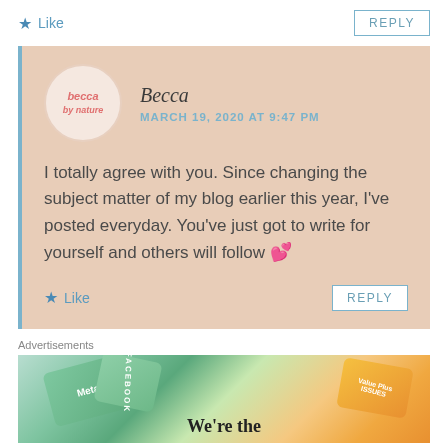★ Like
REPLY
Becca
MARCH 19, 2020 AT 9:47 PM
I totally agree with you. Since changing the subject matter of my blog earlier this year, I've posted everyday. You've just got to write for yourself and others will follow 💕
★ Like
REPLY
Advertisements
[Figure (photo): Advertisement banner showing Meta, Facebook, and other brand cards with 'We're the' text visible at the bottom]